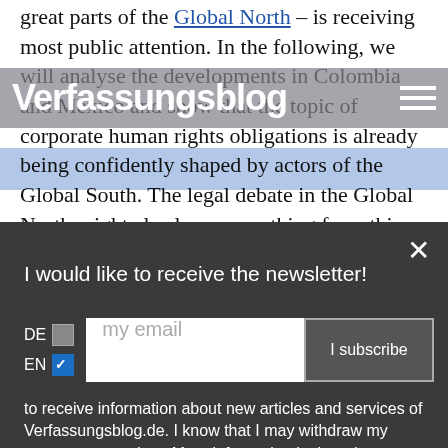Verfassungsblog
great parts of the Global North – is receiving most public attention. In the following, we will analyse the developments in Colombia and Mexico and show that the topic of corporate human rights obligations is already being confidently shaped by actors of the Global South. The legal debate in the Global North might also learn something from this.
I would like to receive the newsletter!
to receive information about new articles and services of Verfassungsblog.de. I know that I may withdraw my consent at any time. More information in the privacy policy.